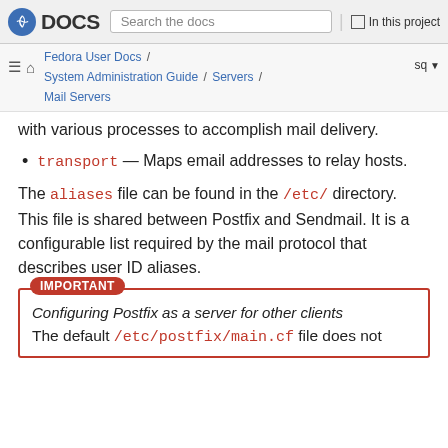Fedora DOCS | Search the docs | In this project
Fedora User Docs / System Administration Guide / Servers / Mail Servers | sq
with various processes to accomplish mail delivery.
transport — Maps email addresses to relay hosts.
The aliases file can be found in the /etc/ directory. This file is shared between Postfix and Sendmail. It is a configurable list required by the mail protocol that describes user ID aliases.
IMPORTANT
Configuring Postfix as a server for other clients
The default /etc/postfix/main.cf file does not